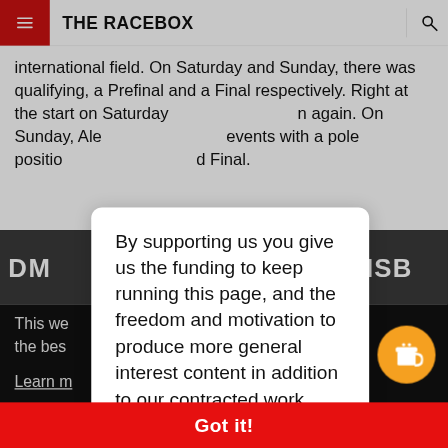THE RACEBOX
international field. On Saturday and Sunday, there was qualifying, a Prefinal and a Final respectively. Right at the start on Saturday … again. On Sunday, Ale … events with a pole positio … d Final.
[Figure (screenshot): Racing track photo strip showing DM and DMSB banner text]
By supporting us you give us the funding to keep running this page, and the freedom and motivation to produce more general interest content in addition to our contracted work, and we thank you for that!
This we … the bes …
Learn m…
Got it!